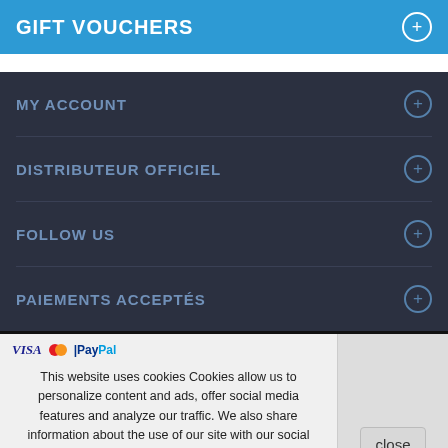GIFT VOUCHERS
MY ACCOUNT
DISTRIBUTEUR OFFICIEL
FOLLOW US
PAIEMENTS ACCEPTÉS
This website uses cookies Cookies allow us to personalize content and ads, offer social media features and analyze our traffic. We also share information about the use of our site with our social media, advertising and analytics partners, who may combine this information with other information that you have provided to them or that they have collected through your use of their services. You consent to our cookies if you continue to use our website.